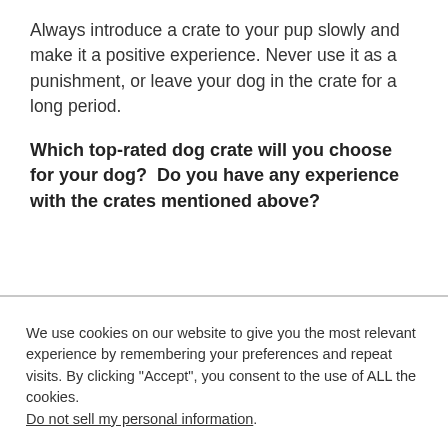Always introduce a crate to your pup slowly and make it a positive experience. Never use it as a punishment, or leave your dog in the crate for a long period.
Which top-rated dog crate will you choose for your dog?  Do you have any experience with the crates mentioned above?
We use cookies on our website to give you the most relevant experience by remembering your preferences and repeat visits. By clicking "Accept", you consent to the use of ALL the cookies. Do not sell my personal information.
Cookie settings   ACCEPT